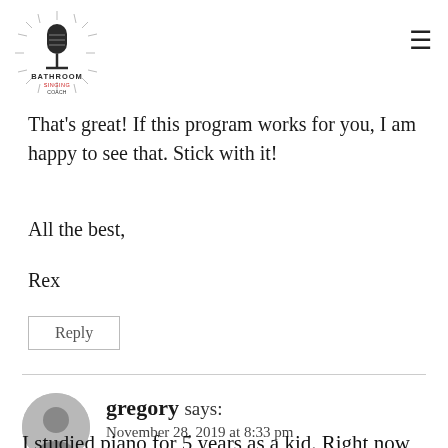[Figure (logo): Bathroom singing podcast logo with microphone illustration and sunburst design]
That's great! If this program works for you, I am happy to see that. Stick with it!
All the best,
Rex
Reply
gregory says:
November 28, 2019 at 8:33 pm
I studied piano for 5 years as a kid. Right now